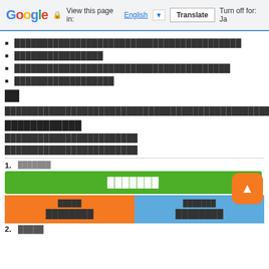Google  View this page in: English [▼]  Translate  Turn off for: Ja
█████████████████████████████████████████
████████████████
███████████████████████████████████████
██████████████████
██
████████████████████████████████████████████████
████████████
████████████████████████
████████████████████████
1.  ███████
███████
████████████████
████████    ████████
2. █████